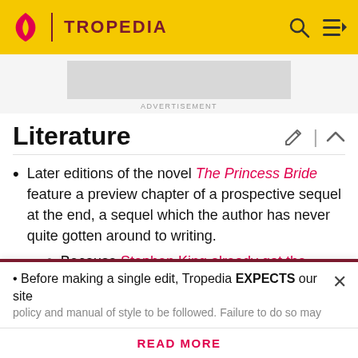TROPEDIA
ADVERTISEMENT
Literature
Later editions of the novel The Princess Bride feature a preview chapter of a prospective sequel at the end, a sequel which the author has never quite gotten around to writing.
Because Stephen King already got the rights to do the adaptation.
Before making a single edit, Tropedia EXPECTS our site policy and manual of style to be followed. Failure to do so may
READ MORE